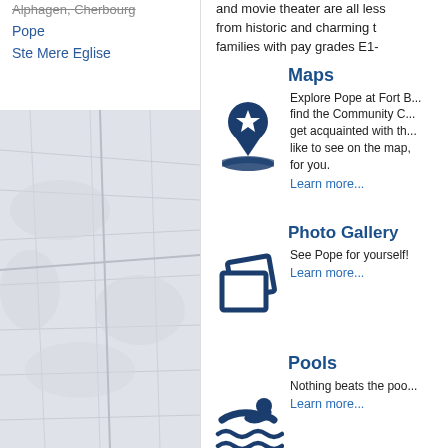Alphagen, Cherbourg
Pope
Ste Mere Eglise
[Figure (map): Map image of the Pope/Fort Bragg area showing geographic terrain]
and movie theater are all less... from historic and charming t... families with pay grades E1-...
Maps
[Figure (illustration): Dark blue map pin icon with star, on an open book/map shape]
Explore Pope at Fort B... find the Community C... get acquainted with th... like to see on the map,... for you.
Learn more...
Photo Gallery
[Figure (illustration): Two overlapping photo/picture frame icons in dark blue]
See Pope for yourself!
Learn more...
Pools
[Figure (illustration): Swimming icon — person swimming with waves beneath, dark blue]
Nothing beats the poo...
Learn more...